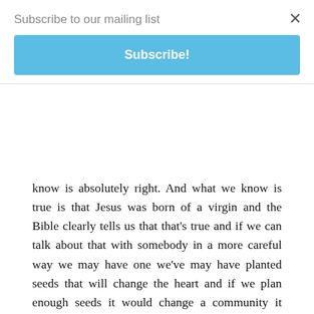Subscribe to our mailing list
Subscribe!
know is absolutely right. And what we know is true is that Jesus was born of a virgin and the Bible clearly tells us that that's true and if we can talk about that with somebody in a more careful way we may have one we've may have planted seeds that will change the heart and if we plan enough seeds it would change a community it might change a state it might change a nation and by the way I'm going to keep saying Merry Christmas back in a positive way but not just to prove a point because I want them to have a Merry Christmas don't you all right well Jesus was born of a virgin there we go home now Jesus was born a virgin of a virgin it was not now we're not talking about Immaculate Conception the Catholics added to a